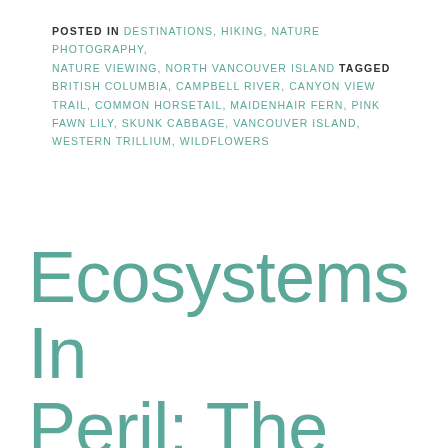POSTED IN DESTINATIONS, HIKING, NATURE PHOTOGRAPHY, NATURE VIEWING, NORTH VANCOUVER ISLAND TAGGED BRITISH COLUMBIA, CAMPBELL RIVER, CANYON VIEW TRAIL, COMMON HORSETAIL, MAIDENHAIR FERN, PINK FAWN LILY, SKUNK CABBAGE, VANCOUVER ISLAND, WESTERN TRILLIUM, WILDFLOWERS
Ecosystems In Peril: The Coastal Douglas-fir...